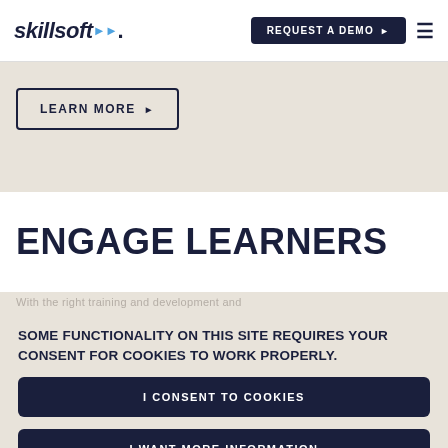skillsoft | REQUEST A DEMO
LEARN MORE
ENGAGE LEARNERS
SOME FUNCTIONALITY ON THIS SITE REQUIRES YOUR CONSENT FOR COOKIES TO WORK PROPERLY.
I CONSENT TO COOKIES
I WANT MORE INFORMATION